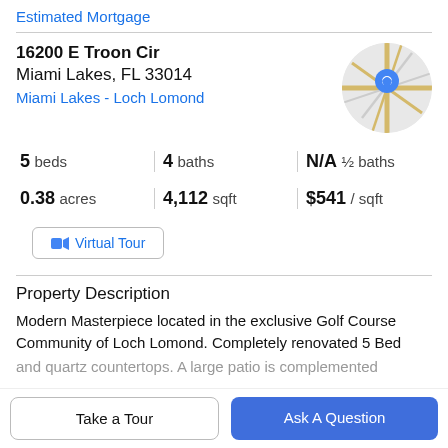Estimated Mortgage
16200 E Troon Cir
Miami Lakes, FL 33014
Miami Lakes - Loch Lomond
[Figure (map): Circular map thumbnail showing street map with blue location pin marker]
5 beds   4 baths   N/A ½ baths   0.38 acres   4,112 sqft   $541 / sqft
Virtual Tour
Property Description
Modern Masterpiece located in the exclusive Golf Course Community of Loch Lomond. Completely renovated 5 Bed
and quartz countertops. A large patio is complemented
Take a Tour
Ask A Question